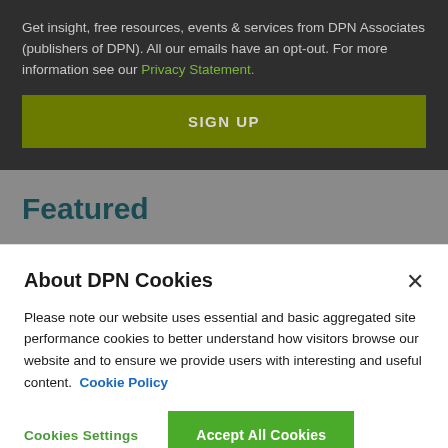Get insight, free resources, events & services from DPN Associates (publishers of DPN). All our emails have an opt-out. For more information see our Privacy Statement.
SIGN UP
Featured
About DPN Cookies
Please note our website uses essential and basic aggregated site performance cookies to better understand how visitors browse our website and to ensure we provide users with interesting and useful content. Cookie Policy
Cookies Settings
Accept All Cookies